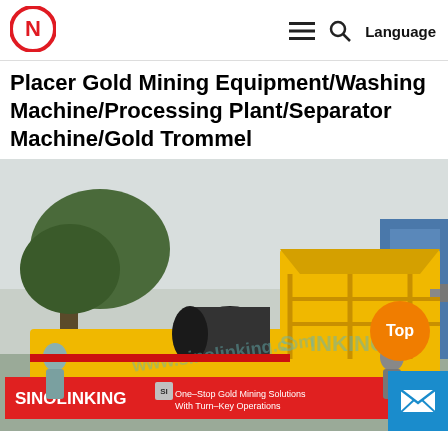[Figure (logo): Sinolinking circular logo in red with stylized N/G letters]
≡  🔍  Language
Placer Gold Mining Equipment/Washing Machine/Processing Plant/Separator Machine/Gold Trommel
[Figure (photo): Photo of a yellow gold trommel/washing machine outdoors with two people holding a red SINOLINKING banner reading 'One-Stop Gold Mining Solutions With Turn-Key Operations' and website www.sinolinking.com. Orange 'Top' button and blue mail button overlaid.]